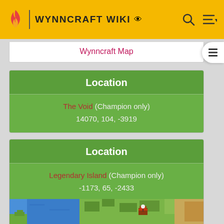WYNNCRAFT WIKI
Wynncraft Map
| Location |
| --- |
| The Void (Champion only)
14070, 104, -3919 |
| Location |
| --- |
| Legendary Island (Champion only)
-1173, 65, -2433 |
[Figure (screenshot): Wynncraft in-game map screenshot showing Legendary Island area with terrain, water and structures]